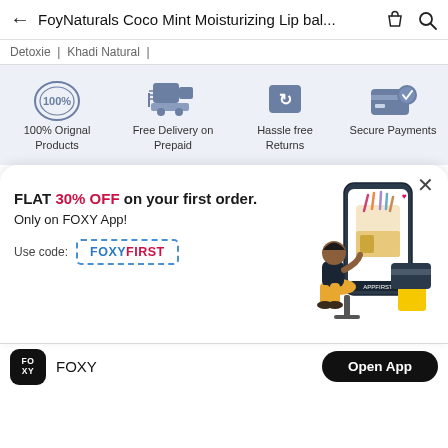FoyNaturals Coco Mint Moisturizing Lip bal...
Detoxie | Khadi Natural |
[Figure (infographic): Four feature icons: 100% Original Products, Free Delivery on Prepaid, Hassle free Returns, Secure Payments]
[Figure (infographic): Promotional popup: FLAT 30% OFF on your first order. Only on FOXY App! Use code: FOXYFIRST. Illustration of person shopping on phone app.]
FOXY
Open App